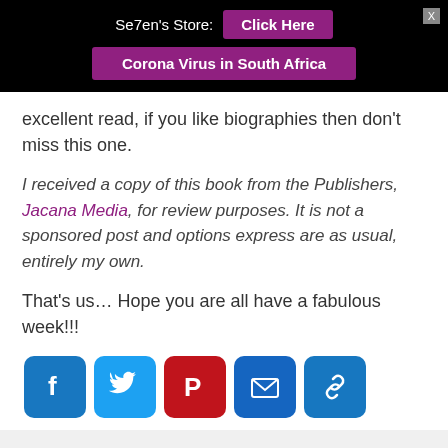Se7en's Store: Click Here | Corona Virus in South Africa
excellent read, if you like biographies then don't miss this one.
I received a copy of this book from the Publishers, Jacana Media, for review purposes. It is not a sponsored post and options express are as usual, entirely my own.
That's us… Hope you are all have a fabulous week!!!
[Figure (other): Social sharing icons row: Facebook (blue), Twitter (light blue), Pinterest (red), Email (dark blue), Link (blue)]
POSTED IN FABULOUS FUN • TAGGED JACANA, MEDIA